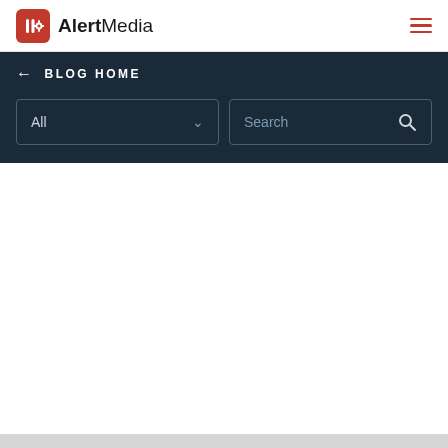AlertMedia
← BLOG HOME
All
Search